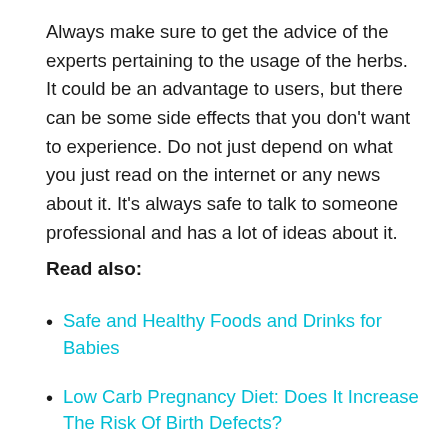Always make sure to get the advice of the experts pertaining to the usage of the herbs. It could be an advantage to users, but there can be some side effects that you don't want to experience. Do not just depend on what you just read on the internet or any news about it. It's always safe to talk to someone professional and has a lot of ideas about it.
Read also:
Safe and Healthy Foods and Drinks for Babies
Low Carb Pregnancy Diet: Does It Increase The Risk Of Birth Defects?